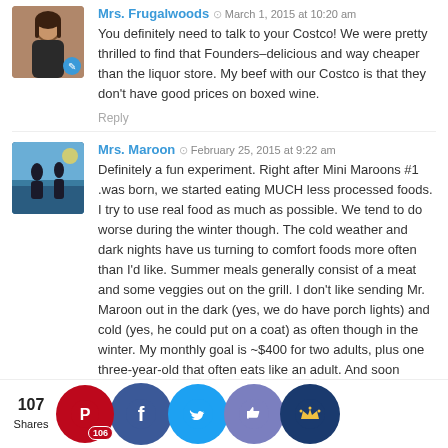Mrs. Frugalwoods — March 1, 2015 at 10:20 am
You definitely need to talk to your Costco! We were pretty thrilled to find that Founders–delicious and way cheaper than the liquor store. My beef with our Costco is that they don't have good prices on boxed wine.
Reply
Mrs. Maroon — February 25, 2015 at 9:22 am
Definitely a fun experiment. Right after Mini Maroons #1 .was born, we started eating MUCH less processed foods. I try to use real food as much as possible. We tend to do worse during the winter though. The cold weather and dark nights have us turning to comfort foods more often than I'd like. Summer meals generally consist of a meat and some veggies out on the grill. I don't like sending Mr. Maroon out in the dark (yes, we do have porch lights) and cold (yes, he could put on a coat) as often though in the winter. My monthly goal is ~$400 for two adults, plus one three-year-old that often eats like an adult. And soon w... addi... ne tab... for Mi... on #2... o... d MA... baths ... ear fut...
[Figure (infographic): Social share bar with 107 Shares count and five circular social media buttons: Pinterest (106), Facebook, Twitter, Like/thumbs-up, and a crown icon button.]